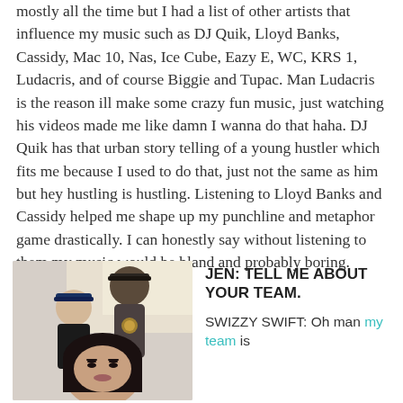mostly all the time but I had a list of other artists that influence my music such as DJ Quik, Lloyd Banks, Cassidy, Mac 10, Nas, Ice Cube, Eazy E, WC, KRS 1, Ludacris, and of course Biggie and Tupac. Man Ludacris is the reason ill make some crazy fun music, just watching his videos made me like damn I wanna do that haha. DJ Quik has that urban story telling of a young hustler which fits me because I used to do that, just not the same as him but hey hustling is hustling. Listening to Lloyd Banks and Cassidy helped me shape up my punchline and metaphor game drastically. I can honestly say without listening to them my music would be bland and probably boring.
[Figure (photo): A selfie photo of three people: a man in a baseball cap on the left, a taller man in a flat-brim cap in the back-center, and a woman with dark hair in the foreground.]
JEN: TELL ME ABOUT YOUR TEAM.
SWIZZY SWIFT: Oh man my team is